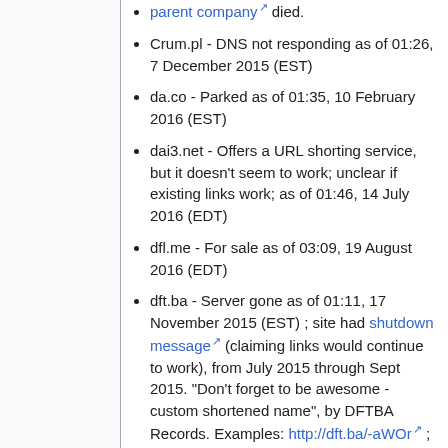parent company died.
Crum.pl - DNS not responding as of 01:26, 7 December 2015 (EST)
da.co - Parked as of 01:35, 10 February 2016 (EST)
dai3.net - Offers a URL shorting service, but it doesn't seem to work; unclear if existing links work; as of 01:46, 14 July 2016 (EDT)
dfl.me - For sale as of 03:09, 19 August 2016 (EDT)
dft.ba - Server gone as of 01:11, 17 November 2015 (EST) ; site had shutdown message (claiming links would continue to work), from July 2015 through Sept 2015. "Don't forget to be awesome - custom shortened name", by DFTBA Records. Examples: http://dft.ba/-aWOr ; http://dft.ba/.bitdo ;